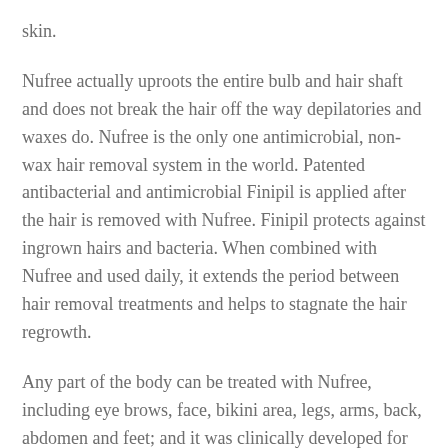skin.
Nufree actually uproots the entire bulb and hair shaft and does not break the hair off the way depilatories and waxes do. Nufree is the only one antimicrobial, non-wax hair removal system in the world. Patented antibacterial and antimicrobial Finipil is applied after the hair is removed with Nufree. Finipil protects against ingrown hairs and bacteria. When combined with Nufree and used daily, it extends the period between hair removal treatments and helps to stagnate the hair regrowth.
Any part of the body can be treated with Nufree, including eye brows, face, bikini area, legs, arms, back, abdomen and feet; and it was clinically developed for sensitive skin.
Bikini hair removal or pubic depilation is the safe removal of body hair in and around the pubic area. Originally meant to prevent the pubic hair from being visible around the edges of a bikini or swimsuit, it now often includes areas covered by bikinis. As general rule of thumb hair needs to be a quarter-inch long if it's